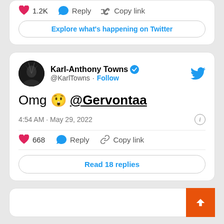♥ 1.2K  Reply  Copy link
Explore what's happening on Twitter
Karl-Anthony Towns @KarlTowns · Follow
Omg 😲 @Gervontaa
4:54 AM · May 29, 2022
♥ 668  Reply  Copy link
Read 18 replies